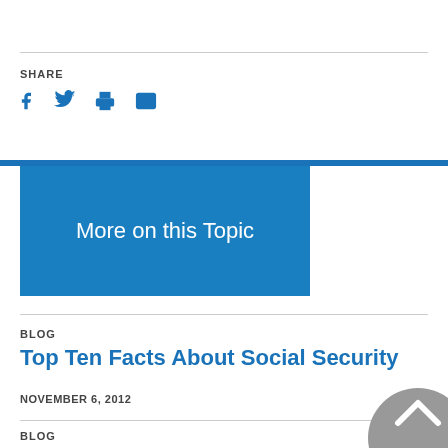SHARE
[Figure (infographic): Social media share icons: Facebook, Twitter, Print, Email]
More on this Topic
BLOG
Top Ten Facts About Social Security
NOVEMBER 6, 2012
BLOG
How to Shore Up Social Security